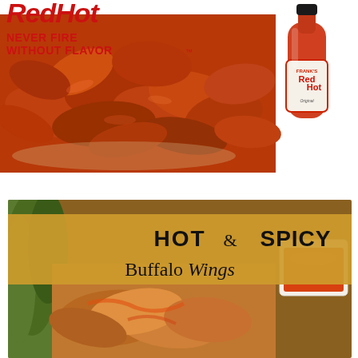[Figure (photo): Frank's RedHot sauce advertisement showing buffalo chicken wings on a plate with a bottle of Frank's RedHot Original sauce. Text reads 'Never Fire Without Flavor™' in red uppercase letters on white background.]
[Figure (photo): Recipe card image showing buffalo wings with sauce. Text overlay reads 'HOT & SPICY Buffalo Wings' on a golden/tan background banner over a food photo.]